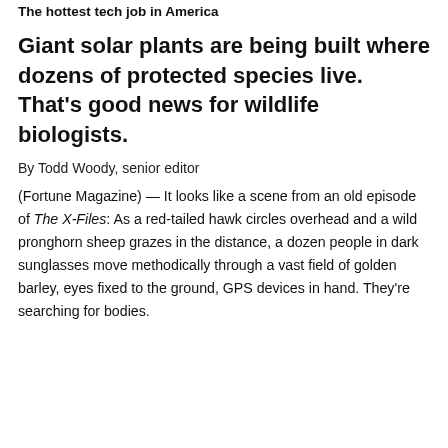The hottest tech job in America
Giant solar plants are being built where dozens of protected species live. That's good news for wildlife biologists.
By Todd Woody, senior editor
(Fortune Magazine) — It looks like a scene from an old episode of The X-Files: As a red-tailed hawk circles overhead and a wild pronghorn sheep grazes in the distance, a dozen people in dark sunglasses move methodically through a vast field of golden barley, eyes fixed to the ground, GPS devices in hand. They're searching for bodies.